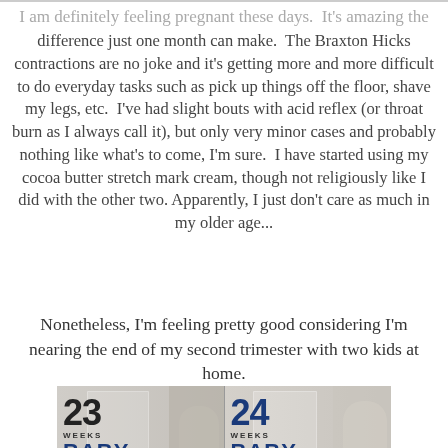I am definitely feeling pregnant these days.  It's amazing the difference just one month can make.  The Braxton Hicks contractions are no joke and it's getting more and more difficult to do everyday tasks such as pick up things off the floor, shave my legs, etc.  I've had slight bouts with acid reflex (or throat burn as I always call it), but only very minor cases and probably nothing like what's to come, I'm sure.  I have started using my cocoa butter stretch mark cream, though not religiously like I did with the other two.  Apparently, I just don't care as much in my older age...
Nonetheless, I'm feeling pretty good considering I'm nearing the end of my second trimester with two kids at home.
[Figure (photo): Side-by-side pregnancy bump photos at 23 weeks and 24 weeks, both showing a pregnant woman in front of a white door, with decorative milestone poster overlays showing '23 WEEKS BABY' and '24 WEEKS BABY' respectively.]